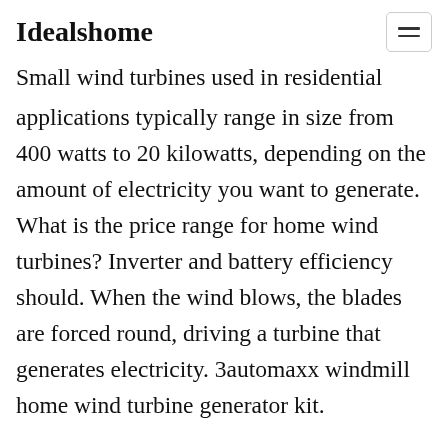Idealshome
Small wind turbines used in residential applications typically range in size from 400 watts to 20 kilowatts, depending on the amount of electricity you want to generate. What is the price range for home wind turbines? Inverter and battery efficiency should. When the wind blows, the blades are forced round, driving a turbine that generates electricity. 3automaxx windmill home wind turbine generator kit.